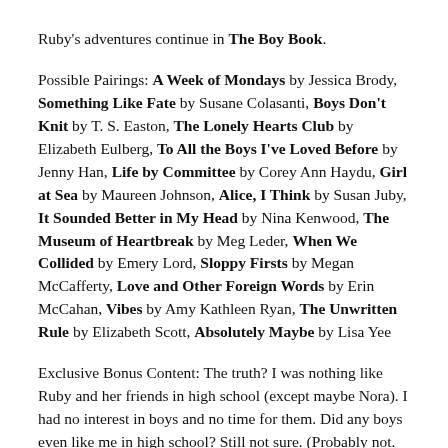Ruby's adventures continue in The Boy Book.
Possible Pairings: A Week of Mondays by Jessica Brody, Something Like Fate by Susane Colasanti, Boys Don't Knit by T. S. Easton, The Lonely Hearts Club by Elizabeth Eulberg, To All the Boys I've Loved Before by Jenny Han, Life by Committee by Corey Ann Haydu, Girl at Sea by Maureen Johnson, Alice, I Think by Susan Juby, It Sounded Better in My Head by Nina Kenwood, The Museum of Heartbreak by Meg Leder, When We Collided by Emery Lord, Sloppy Firsts by Megan McCafferty, Love and Other Foreign Words by Erin McCahan, Vibes by Amy Kathleen Ryan, The Unwritten Rule by Elizabeth Scott, Absolutely Maybe by Lisa Yee
Exclusive Bonus Content: The truth? I was nothing like Ruby and her friends in high school (except maybe Nora). I had no interest in boys and no time for them. Did any boys even like me in high school? Still not sure. (Probably not.